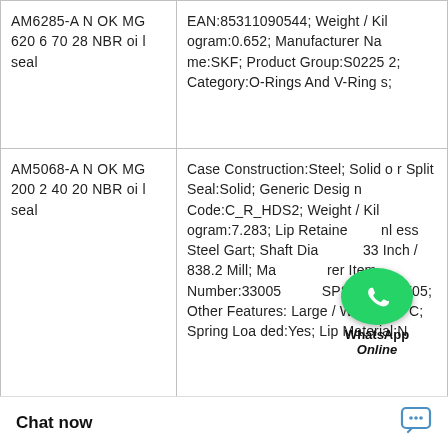| Product | Details |
| --- | --- |
| AM6285-A NOK MG 620 670 28 NBR oil seal | EAN:85311090544; Weight / Kilogram:0.652; Manufacturer Name:SKF; Product Group:S02252; Category:O-Rings And V-Rings; |
| AM5068-A NOK MG 200 240 20 NBR oil seal | Case Construction:Steel; Solid or Split Seal:Solid; Generic Design Code:C_R_HDS2; Weight / Kilogram:7.283; Lip Retainer:Stainless Steel Gart; Shaft Diameter:33 Inch / 838.2 Mill; Manufacturer Item Number:330056; SPSC:31411705; Other Features:Large / With Inner C; Spring Loaded:Yes; Lip Material:N |
|  | Harmonized Tariff Code:4016.93.50.20; Keyword String:Lip; Manufacturer Name:SKF; Noun:Shaft Sealing Lips:2; A 315 Inch / 8.001 |
[Figure (other): WhatsApp Online overlay icon — green circle with phone handset icon and text 'WhatsApp Online']
Chat now